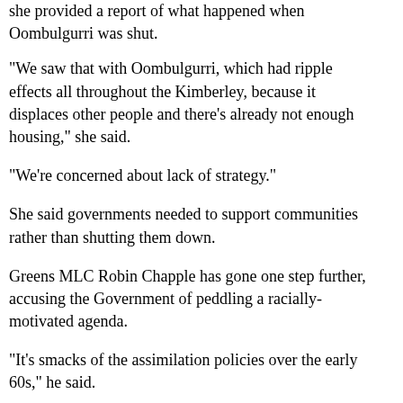she provided a report of what happened when Oombulgurri was shut.
"We saw that with Oombulgurri, which had ripple effects all throughout the Kimberley, because it displaces other people and there's already not enough housing," she said.
"We're concerned about lack of strategy."
She said governments needed to support communities rather than shutting them down.
Greens MLC Robin Chapple has gone one step further, accusing the Government of peddling a racially-motivated agenda.
"It's smacks of the assimilation policies over the early 60s," he said.
"It's horrendous. This is a diabolical, in my view, highly racially motivated agenda."
The Barnett Government has said it was forced to accept a $90 million payment from the Commonwealth to take over responsibility for the remote communities.
Tags: